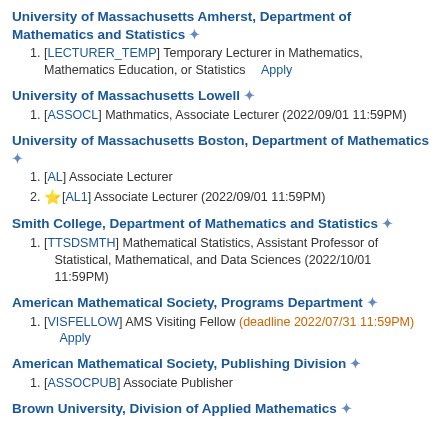University of Massachusetts Amherst, Department of Mathematics and Statistics *
[LECTURER_TEMP] Temporary Lecturer in Mathematics, Mathematics Education, or Statistics   Apply
University of Massachusetts Lowell *
[ASSOCL] Mathmatics, Associate Lecturer (2022/09/01 11:59PM)
University of Massachusetts Boston, Department of Mathematics *
[AL] Associate Lecturer
[AL1] Associate Lecturer (2022/09/01 11:59PM)
Smith College, Department of Mathematics and Statistics *
[TTSDSMTH] Mathematical Statistics, Assistant Professor of Statistical, Mathematical, and Data Sciences (2022/10/01 11:59PM)
American Mathematical Society, Programs Department *
[VISFELLOW] AMS Visiting Fellow (deadline 2022/07/31 11:59PM)  Apply
American Mathematical Society, Publishing Division *
[ASSOCPUB] Associate Publisher
Brown University, Division of Applied Mathematics *